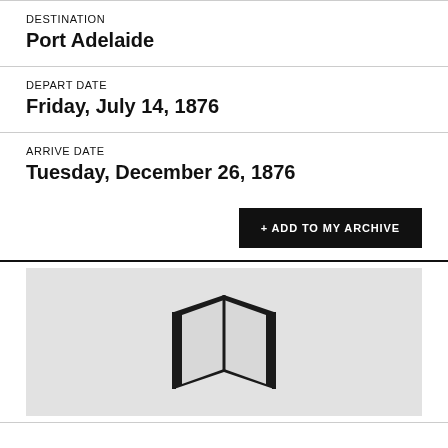DESTINATION
Port Adelaide
DEPART DATE
Friday, July 14, 1876
ARRIVE DATE
Tuesday, December 26, 1876
+ ADD TO MY ARCHIVE
[Figure (illustration): A map/book open icon rendered in dark grey/black silhouette on a light grey background]